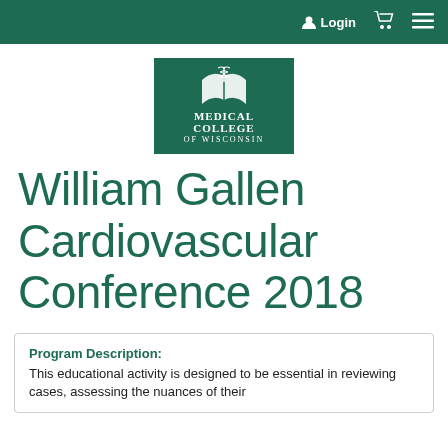Login
[Figure (logo): Medical College of Wisconsin logo — green rectangle with open book and caduceus symbol, text reads MEDICAL COLLEGE OF WISCONSIN]
William Gallen Cardiovascular Conference 2018
Program Description: This educational activity is designed to be essential in reviewing cases, assessing the nuances of their